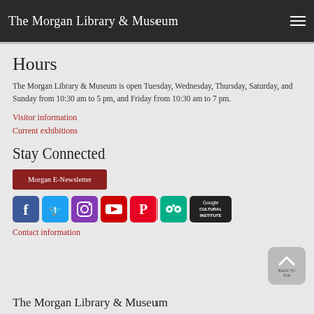The Morgan Library & Museum
Hours
The Morgan Library & Museum is open Tuesday, Wednesday, Thursday, Saturday, and Sunday from 10:30 am to 5 pm, and Friday from 10:30 am to 7 pm.
Visitor information
Current exhibitions
Stay Connected
Morgan E-Newsletter
[Figure (other): Social media icons: Facebook, Twitter, Instagram, YouTube, Pinterest, TripAdvisor, Google Cultural Institute]
Contact information
BACK TO TOP
The Morgan Library & Museum